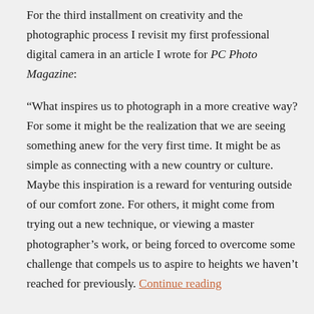For the third installment on creativity and the photographic process I revisit my first professional digital camera in an article I wrote for PC Photo Magazine:
“What inspires us to photograph in a more creative way? For some it might be the realization that we are seeing something anew for the very first time. It might be as simple as connecting with a new country or culture. Maybe this inspiration is a reward for venturing outside of our comfort zone. For others, it might come from trying out a new technique, or viewing a master photographer’s work, or being forced to overcome some challenge that compels us to aspire to heights we haven’t reached for previously. Continue reading